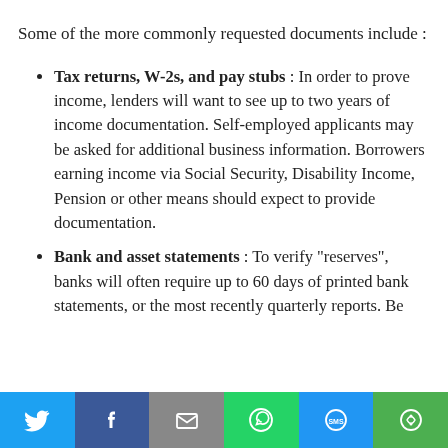Some of the more commonly requested documents include :
Tax returns, W-2s, and pay stubs : In order to prove income, lenders will want to see up to two years of income documentation. Self-employed applicants may be asked for additional business information. Borrowers earning income via Social Security, Disability Income, Pension or other means should expect to provide documentation.
Bank and asset statements : To verify “reserves”, banks will often require up to 60 days of printed bank statements, or the most recently quarterly reports. Be
[Figure (infographic): Social sharing bar with icons for Twitter, Facebook, Email, WhatsApp, SMS, and a share/copy icon on colored backgrounds.]